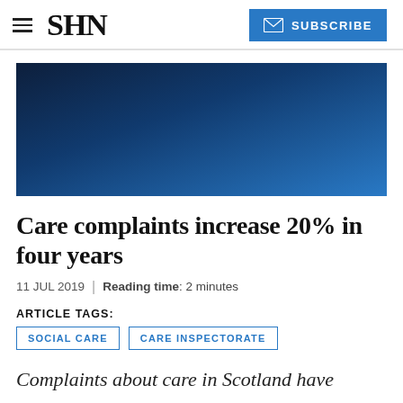SHN | SUBSCRIBE
[Figure (illustration): Blue gradient hero banner image fading from dark navy at left to medium blue at right]
Care complaints increase 20% in four years
11 JUL 2019 | Reading time: 2 minutes
ARTICLE TAGS:
SOCIAL CARE
CARE INSPECTORATE
Complaints about care in Scotland have